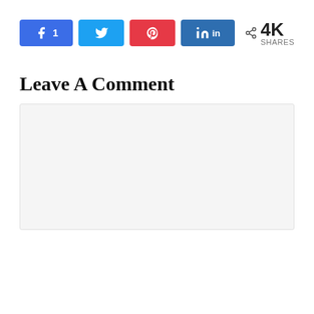[Figure (infographic): Social share buttons row: Facebook (1 share), Twitter, Pinterest, LinkedIn, and a share count showing 4K SHARES]
Leave A Comment
[Figure (screenshot): Empty comment text area with light gray background]